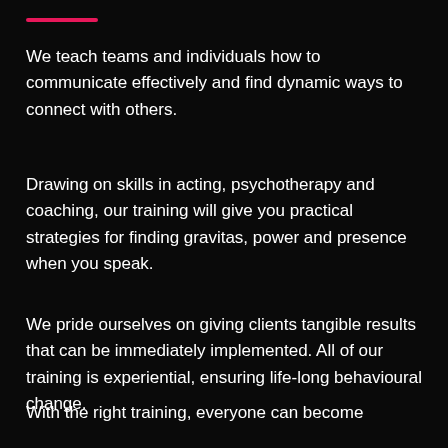We teach teams and individuals how to communicate effectively and find dynamic ways to connect with others.
Drawing on skills in acting, psychotherapy and coaching, our training will give you practical strategies for finding gravitas, power and presence when you speak.
We pride ourselves on giving clients tangible results that can be immediately implemented. All of our training is experiential, ensuring life-long behavioural change.
With the right training, everyone can become